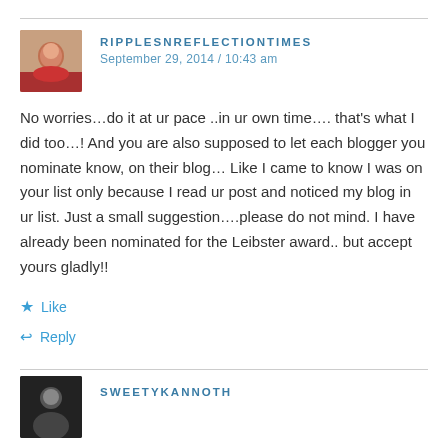RIPPLESNREFLECTIONTIMES
September 29, 2014 / 10:43 am
No worries…do it at ur pace ..in ur own time…. that's what I did too…! And you are also supposed to let each blogger you nominate know, on their blog… Like I came to know I was on your list only because I read ur post and noticed my blog in ur list. Just a small suggestion….please do not mind. I have already been nominated for the Leibster award.. but accept yours gladly!!
Like
Reply
SWEETYKANNOTH